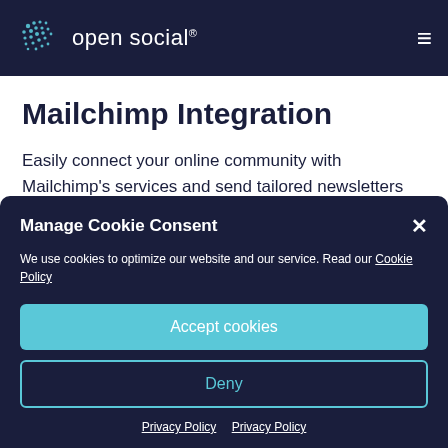open social®
Mailchimp Integration
Easily connect your online community with Mailchimp's services and send tailored newsletters and emails to specific
Manage Cookie Consent
We use cookies to optimize our website and our service. Read our Cookie Policy
Accept cookies
Deny
Privacy Policy   Privacy Policy